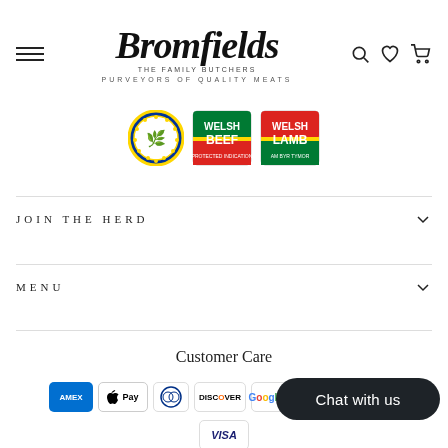[Figure (logo): Bromfields The Family Butchers logo with tagline PURVEYORS OF QUALITY MEATS]
[Figure (illustration): Three certification badges: EU Protected Geographical Indication seal, Welsh Beef logo, Welsh Lamb logo]
JOIN THE HERD
MENU
Customer Care
[Figure (other): Payment method icons: American Express, Apple Pay, Diners Club, Discover, Google Pay, Mastercard, Shop Pay, Visa]
[Figure (other): Chat with us button overlay]